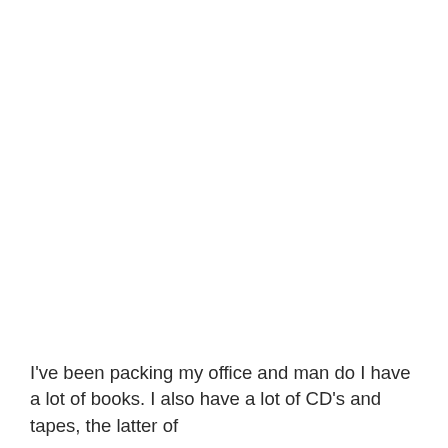I've been packing my office and man do I have a lot of books. I also have a lot of CD's and tapes, the latter of